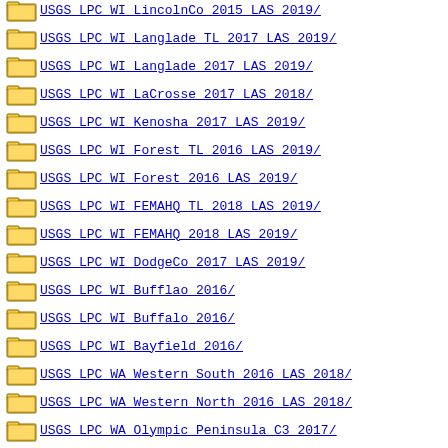USGS LPC WI LincolnCo 2015 LAS 2019/
USGS LPC WI Langlade TL 2017 LAS 2019/
USGS LPC WI Langlade 2017 LAS 2019/
USGS LPC WI LaCrosse 2017 LAS 2018/
USGS LPC WI Kenosha 2017 LAS 2019/
USGS LPC WI Forest TL 2016 LAS 2019/
USGS LPC WI Forest 2016 LAS 2019/
USGS LPC WI FEMAHQ TL 2018 LAS 2019/
USGS LPC WI FEMAHQ 2018 LAS 2019/
USGS LPC WI DodgeCo 2017 LAS 2019/
USGS LPC WI Bufflao 2016/
USGS LPC WI Buffalo 2016/
USGS LPC WI Bayfield 2016/
USGS LPC WA Western South 2016 LAS 2018/
USGS LPC WA Western North 2016 LAS 2018/
USGS LPC WA Olympic Peninsula C3 2017/
USGS LPC WA Olympic Peninsula C2 2017/
USGS LPC WA Olympic Peninsula C1 2017 LAS 2019/